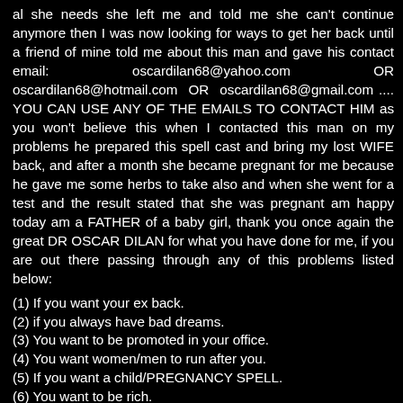al she needs she left me and told me she can't continue anymore then I was now looking for ways to get her back until a friend of mine told me about this man and gave his contact email: oscardilan68@yahoo.com OR oscardilan68@hotmail.com OR oscardilan68@gmail.com .... YOU CAN USE ANY OF THE EMAILS TO CONTACT HIM as you won't believe this when I contacted this man on my problems he prepared this spell cast and bring my lost WIFE back, and after a month she became pregnant for me because he gave me some herbs to take also and when she went for a test and the result stated that she was pregnant am happy today am a FATHER of a baby girl, thank you once again the great DR OSCAR DILAN for what you have done for me, if you are out there passing through any of this problems listed below:
(1) If you want your ex back.
(2) if you always have bad dreams.
(3) You want to be promoted in your office.
(4) You want women/men to run after you.
(5) If you want a child/PREGNANCY SPELL.
(6) You want to be rich.